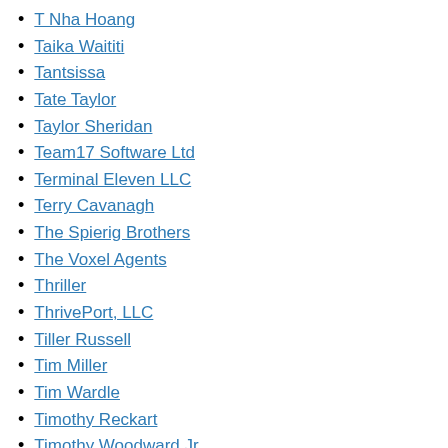T Nha Hoang
Taika Waititi
Tantsissa
Tate Taylor
Taylor Sheridan
Team17 Software Ltd
Terminal Eleven LLC
Terry Cavanagh
The Spierig Brothers
The Voxel Agents
Thriller
ThrivePort, LLC
Tiller Russell
Tim Miller
Tim Wardle
Timothy Reckart
Timothy Woodward Jr.
Tips
Tips/Apple Music